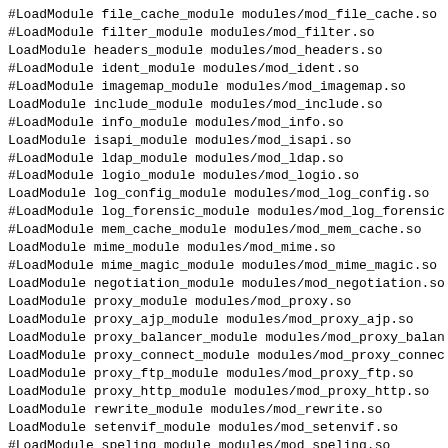#LoadModule file_cache_module modules/mod_file_cache.so
#LoadModule filter_module modules/mod_filter.so
LoadModule headers_module modules/mod_headers.so
#LoadModule ident_module modules/mod_ident.so
#LoadModule imagemap_module modules/mod_imagemap.so
LoadModule include_module modules/mod_include.so
#LoadModule info_module modules/mod_info.so
LoadModule isapi_module modules/mod_isapi.so
#LoadModule ldap_module modules/mod_ldap.so
#LoadModule logio_module modules/mod_logio.so
LoadModule log_config_module modules/mod_log_config.so
#LoadModule log_forensic_module modules/mod_log_forensic
#LoadModule mem_cache_module modules/mod_mem_cache.so
LoadModule mime_module modules/mod_mime.so
#LoadModule mime_magic_module modules/mod_mime_magic.so
LoadModule negotiation_module modules/mod_negotiation.so
LoadModule proxy_module modules/mod_proxy.so
LoadModule proxy_ajp_module modules/mod_proxy_ajp.so
LoadModule proxy_balancer_module modules/mod_proxy_balan
LoadModule proxy_connect_module modules/mod_proxy_connec
LoadModule proxy_ftp_module modules/mod_proxy_ftp.so
LoadModule proxy_http_module modules/mod_proxy_http.so
LoadModule rewrite_module modules/mod_rewrite.so
LoadModule setenvif_module modules/mod_setenvif.so
#LoadModule speling_module modules/mod_speling.so
#LoadModule ssl_module modules/mod_ssl.so
#LoadModule status_module modules/mod_status.so
#LoadModule substitute_module modules/mod_substitute.so
#LoadModule unique_id_module modules/mod_unique_id.so
#LoadModule userdir_module modules/mod_userdir.so